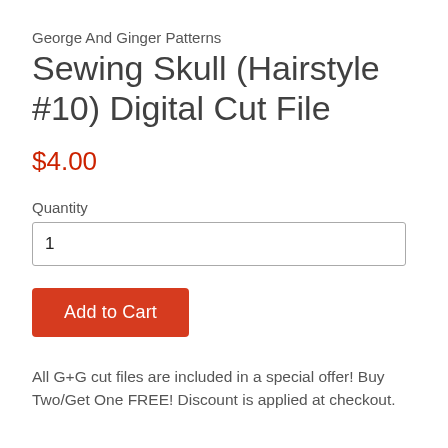George And Ginger Patterns
Sewing Skull (Hairstyle #10) Digital Cut File
$4.00
Quantity
1
Add to Cart
All G+G cut files are included in a special offer!  Buy Two/Get One FREE!  Discount is applied at checkout.